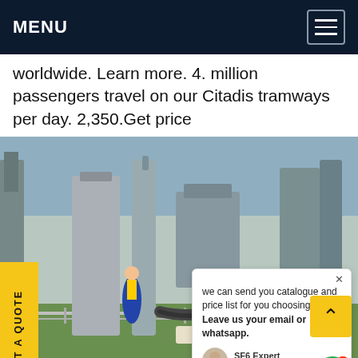MENU
worldwide. Learn more. 4. million passengers travel on our Citadis tramways per day. 2,350.Get price
[Figure (photo): Industrial electrical substation with large transformer equipment and workers in blue coveralls. A chat popup overlay is visible in the upper right showing a message 'we can send you catalogue and price list for you choosing. Leave us your email or whatsapp.' with an avatar, SF6 Expert label, and write/like/attach icons. A yellow 'REQUEST A QUOTE' tab is on the left side. A green chat button with notification badge is at upper right. SF6 branding visible at bottom right.]